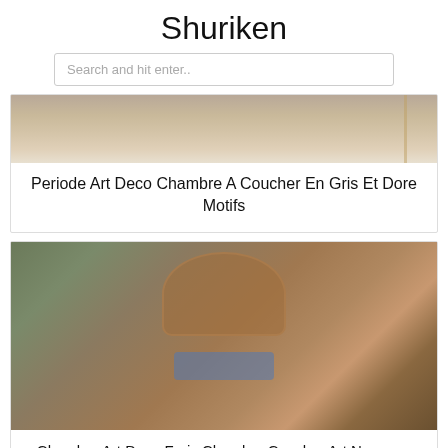Shuriken
Search and hit enter..
[Figure (photo): Partial view of an Art Deco bedroom with grey and gold motifs, ceiling and wall detail visible]
Periode Art Deco Chambre A Coucher En Gris Et Dore Motifs
[Figure (photo): Art Nouveau style bedroom with ornate wooden bed frame, blue pillows/bedding, wooden nightstands and dresser, wall sconces, decorative floor lamp, hardwood floors]
Chambre Art Deco Frais Chambre Coucher Art Nouveau